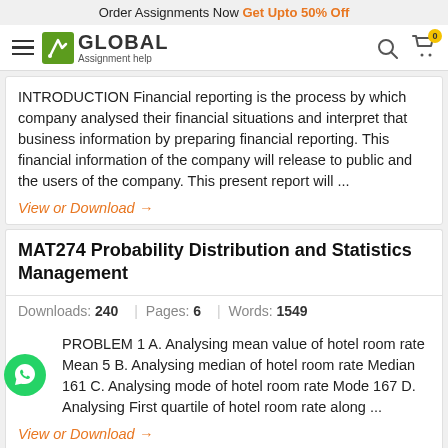Order Assignments Now Get Upto 50% Off
[Figure (logo): Global Assignment Help logo with hamburger menu, search icon, and cart]
INTRODUCTION Financial reporting is the process by which company analysed their financial situations and interpret that business information by preparing financial reporting. This financial information of the company will release to public and the users of the company. This present report will ...
View or Download →
MAT274 Probability Distribution and Statistics Management
Downloads: 240   Pages: 6   Words: 1549
PROBLEM 1 A. Analysing mean value of hotel room rate Mean 5 B. Analysing median of hotel room rate Median 161 C. Analysing mode of hotel room rate Mode 167 D. Analysing First quartile of hotel room rate along ...
View or Download →